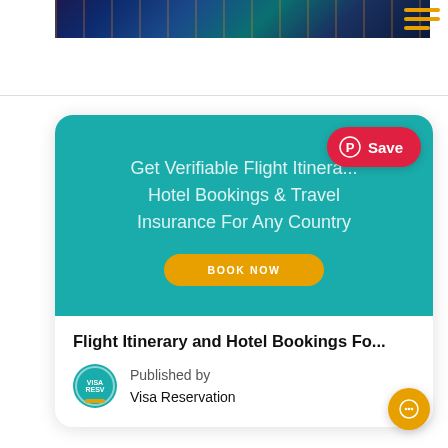[Figure (photo): Aerial night city photo at the top of the page with an orange hamburger menu icon in the top right corner]
[Figure (infographic): Teal card with text: Get Verifiable Flight Itineraries, Hotel Bookings & Travel Insurance For Any Country, with a BOOK NOW button and a red Save button with Pinterest icon in the top right]
Flight Itinerary and Hotel Bookings Fo...
Published by
Visa Reservation